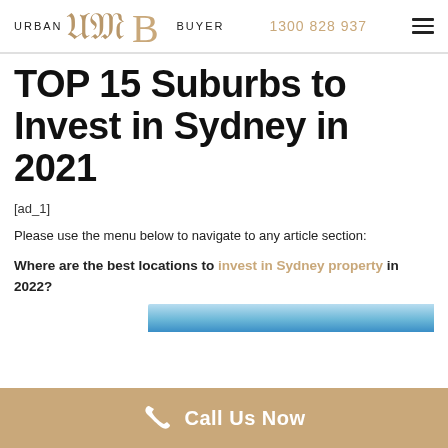URBAN UB BUYER  1300 828 937
TOP 15 Suburbs to Invest in Sydney in 2021
[ad_1]
Please use the menu below to navigate to any article section:
Where are the best locations to invest in Sydney property in 2022?
[Figure (photo): Partial view of a sky/cityscape photo at the bottom of the page]
Call Us Now